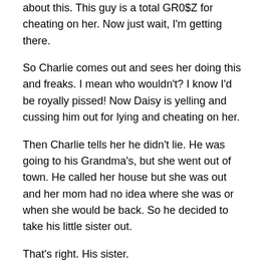about this. This guy is a total GR0$Z for cheating on her. Now just wait, I'm getting there.
So Charlie comes out and sees her doing this and freaks. I mean who wouldn't? I know I'd be royally pissed! Now Daisy is yelling and cussing him out for lying and cheating on her.
Then Charlie tells her he didn't lie. He was going to his Grandma's, but she went out of town. He called her house but she was out and her mom had no idea where she was or when she would be back. So he decided to take his little sister out.
That's right. His sister.
[Figure (photo): A framed photograph showing a person with wild/fluffy hair against a blueish-gray background, displayed in a dark black frame with a light inner border.]